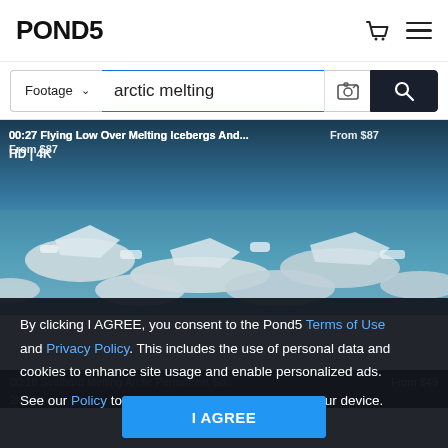POND5
Footage ∨  arctic melting
[Figure (screenshot): Aerial view of melting icebergs and ice floating in cold arctic water, teal and grey tones. Overlay text: 00:27  Flying Low Over Melting Icebergs And...  From $87  HD | 4K]
By clicking I AGREE, you consent to the Pond5 Terms of Use and Privacy Policy. This includes the use of personal data and cookies to enhance site usage and enable personalized ads. See our Policy to change cookie preferences on your device.
00:18  Svalbard Melting Arctic Permafrost So...  From $49  2k | 4K
I AGREE